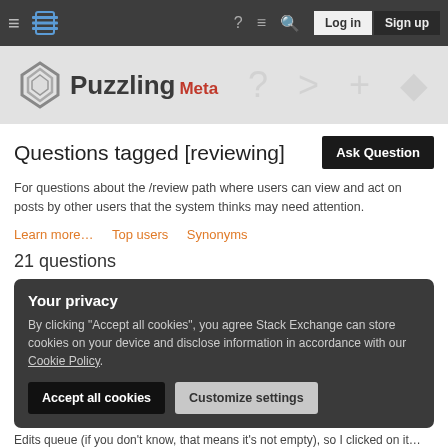= [logo] Puzzling Meta | ? [icons] Log in | Sign up
[Figure (logo): Puzzling Meta logo with diamond-shaped icon and site name]
Questions tagged [reviewing]
For questions about the /review path where users can view and act on posts by other users that the system thinks may need attention.
Learn more…   Top users   Synonyms
21 questions
Your privacy
By clicking "Accept all cookies", you agree Stack Exchange can store cookies on your device and disclose information in accordance with our Cookie Policy.
Accept all cookies   Customize settings
Edits queue (if you don't know, that means it's not empty), so I clicked on it…